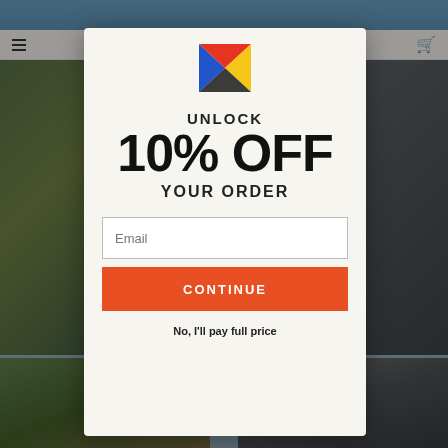[Figure (screenshot): Background website page with rug/home decor images, navigation bar with hamburger menu and cart icon, partially visible behind modal popup]
[Figure (logo): Modway or similar brand logo: geometric shape made of blue, red/orange, and yellow triangles forming an M-like shape]
UNLOCK 10% OFF YOUR ORDER
Email
CONTINUE
No, I'll pay full price